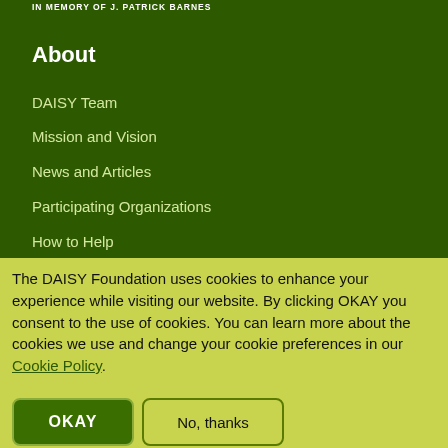IN MEMORY OF J. PATRICK BARNES
About
DAISY Team
Mission and Vision
News and Articles
Participating Organizations
How to Help
The DAISY Foundation uses cookies to enhance your experience while visiting our website. By clicking OKAY you consent to the use of cookies. You can learn more about the cookies we use and change your cookie preferences in our Cookie Policy.
OKAY
No, thanks